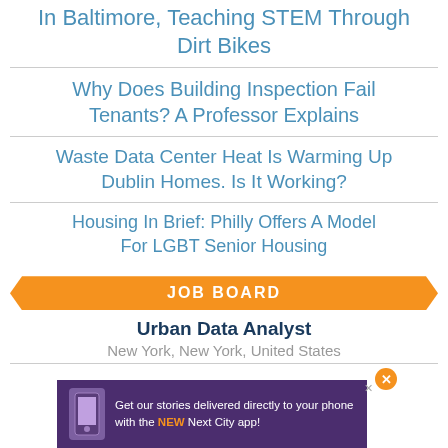In Baltimore, Teaching STEM Through Dirt Bikes
Why Does Building Inspection Fail Tenants? A Professor Explains
Waste Data Center Heat Is Warming Up Dublin Homes. Is It Working?
Housing In Brief: Philly Offers A Model For LGBT Senior Housing
JOB BOARD
Urban Data Analyst
New York, New York, United States
Get our stories delivered directly to your phone with the NEW Next City app!